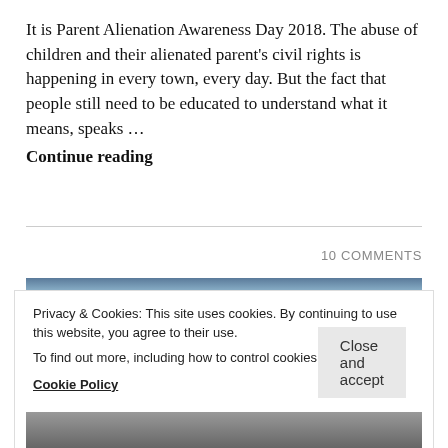It is Parent Alienation Awareness Day 2018. The abuse of children and their alienated parent's civil rights is happening in every town, every day. But the fact that people still need to be educated to understand what it means, speaks … Continue reading
10 COMMENTS
[Figure (photo): Thin horizontal strip of a photo with sky/blue tones]
Privacy & Cookies: This site uses cookies. By continuing to use this website, you agree to their use.
To find out more, including how to control cookies, see here:
Cookie Policy
Close and accept
[Figure (photo): Bottom portion of a photo with dark tones, partially visible]